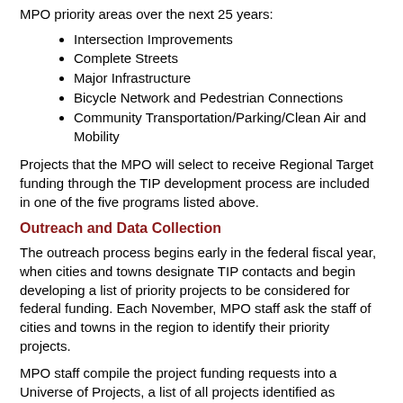MPO priority areas over the next 25 years:
Intersection Improvements
Complete Streets
Major Infrastructure
Bicycle Network and Pedestrian Connections
Community Transportation/Parking/Clean Air and Mobility
Projects that the MPO will select to receive Regional Target funding through the TIP development process are included in one of the five programs listed above.
Outreach and Data Collection
The outreach process begins early in the federal fiscal year, when cities and towns designate TIP contacts and begin developing a list of priority projects to be considered for federal funding. Each November, MPO staff ask the staff of cities and towns in the region to identify their priority projects.
MPO staff compile the project funding requests into a Universe of Projects, a list of all projects identified as potential candidates to receive funding through the TIP. The Universe includes projects that are fully designed and ready to be advertised for construction, those that are undergoing preliminary engineering and design, as well as projects still in